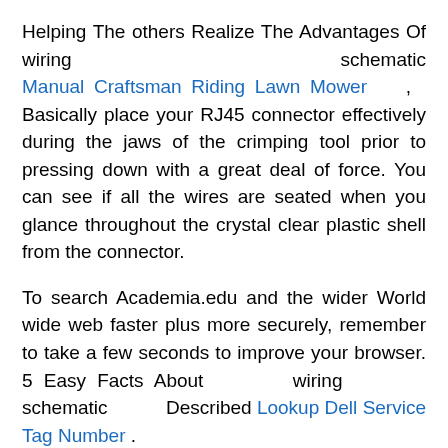Helping The others Realize The Advantages Of wiring schematic Manual Craftsman Riding Lawn Mower , Basically place your RJ45 connector effectively during the jaws of the crimping tool prior to pressing down with a great deal of force. You can see if all the wires are seated when you glance throughout the crystal clear plastic shell from the connector.
To search Academia.edu and the wider World wide web faster plus more securely, remember to take a few seconds to improve your browser. 5 Easy Facts About wiring schematic Described Lookup Dell Service Tag Number .
We will offer you The essential totally free wiring diagrams in an e-mail that can be seen, saved or printed for long term use. Automotive fundamental wiring diagrams can be obtained totally free for domestic and Asian vehicles. Some European wiring